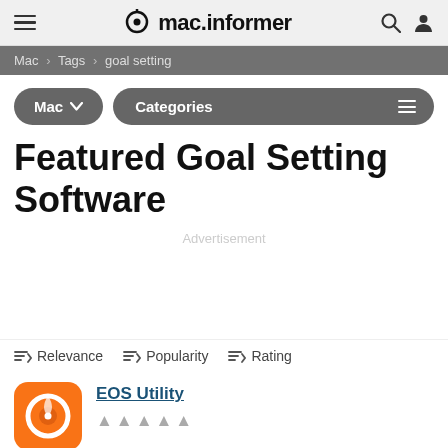mac.informer
Mac > Tags > goal setting
Mac ∨   Categories
Featured Goal Setting Software
Advertisement
Relevance   Popularity   Rating
EOS Utility